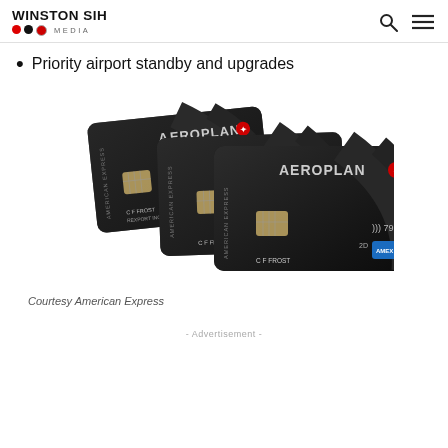WINSTON SIH MEDIA
Priority airport standby and upgrades
[Figure (photo): Three American Express Aeroplan credit cards (business and personal variants) fanned out against a white background, showing the dark metal card design with Aeroplan branding and Air Canada maple leaf logo. Cards show names C F FROST and REXPORT INC.]
Courtesy American Express
- Advertisement -